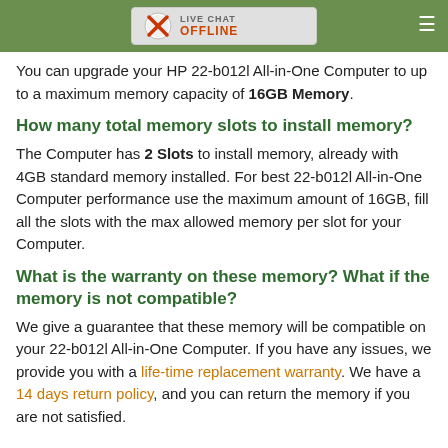LIVE CHAT OFFLINE
You can upgrade your HP 22-b012l All-in-One Computer to up to a maximum memory capacity of 16GB Memory.
How many total memory slots to install memory?
The Computer has 2 Slots to install memory, already with 4GB standard memory installed. For best 22-b012l All-in-One Computer performance use the maximum amount of 16GB, fill all the slots with the max allowed memory per slot for your Computer.
What is the warranty on these memory? What if the memory is not compatible?
We give a guarantee that these memory will be compatible on your 22-b012l All-in-One Computer. If you have any issues, we provide you with a life-time replacement warranty. We have a 14 days return policy, and you can return the memory if you are not satisfied.